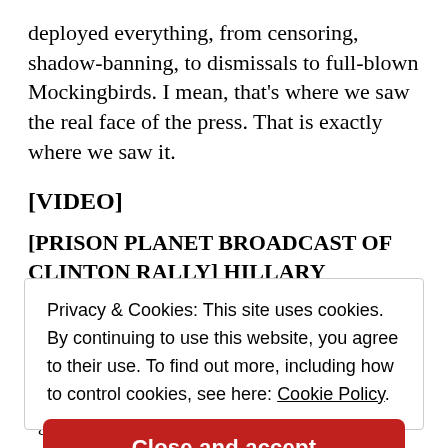deployed everything, from censoring, shadow-banning, to dismissals to full-blown Mockingbirds. I mean, that's where we saw the real face of the press. That is exactly where we saw it.
[VIDEO]
[PRISON PLANET BROADCAST OF CLINTON RALLY] HILLARY CLINTON: I
Privacy & Cookies: This site uses cookies. By continuing to use this website, you agree to their use. To find out more, including how to control cookies, see here: Cookie Policy
Close and accept
against me.